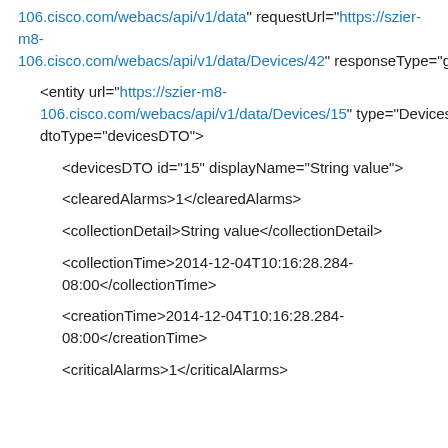106.cisco.com/webacs/api/v1/data" requestUrl="https://szier-m8-106.cisco.com/webacs/api/v1/data/Devices/42" responseType="getEntity">
<entity url="https://szier-m8-106.cisco.com/webacs/api/v1/data/Devices/15" type="Devices" dtoType="devicesDTO">
<devicesDTO id="15" displayName="String value">
<clearedAlarms>1</clearedAlarms>
<collectionDetail>String value</collectionDetail>
<collectionTime>2014-12-04T10:16:28.284-08:00</collectionTime>
<creationTime>2014-12-04T10:16:28.284-08:00</creationTime>
<criticalAlarms>1</criticalAlarms>